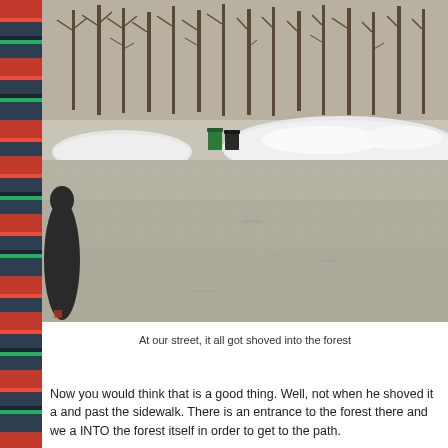[Figure (photo): A winter outdoor scene showing a large snowy parking lot or open area. In the background, bare trees line the edge of a forest. Large piles of plowed snow are visible along the forest edge. A person in a dark jacket is visible on the left side of the image in the foreground. Two trash cans (one green, one black) are visible near the snow piles. The ground appears to be a wet, icy parking lot surface.]
At our street, it all got shoved into the forest
Now you would think that is a good thing. Well, not when he shoved it a and past the sidewalk. There is an entrance to the forest there and we a INTO the forest itself in order to get to the path.